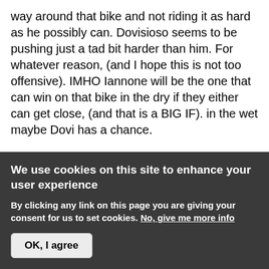way around that bike and not riding it as hard as he possibly can. Dovisioso seems to be pushing just a tad bit harder than him. For whatever reason, (and I hope this is not too offensive). IMHO Iannone will be the one that can win on that bike in the dry if they either can get close, (and that is a BIG IF). in the wet maybe Dovi has a chance.

I say this because it seems Iannone just speaks on feeling out the bike, Dovi is already seeming to get stuck on the issues. Which is fine, BUT! He also was on the best Motogp team in the paddock at one time, (Repsol/Honda), he and Pedrosa complained and excused their failures away about how 'bad' the bike was doing this or
We use cookies on this site to enhance your user experience
By clicking any link on this page you are giving your consent for us to set cookies. No, give me more info
OK, I agree